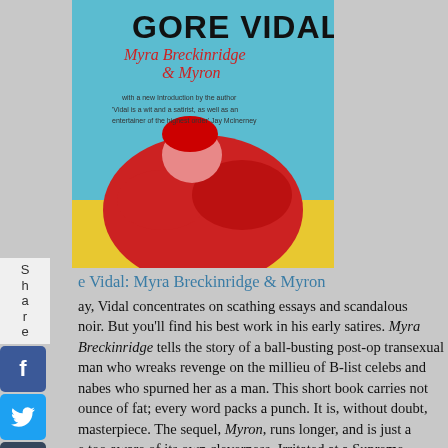[Figure (photo): Book cover of Gore Vidal: Myra Breckinridge & Myron, showing stylized red and yellow illustration with text on teal/blue background]
Gore Vidal: Myra Breckinridge & Myron
ay, Vidal concentrates on scathing essays and scandalous noir. But you'll find his best work in his early satires. Myra Breckinridge tells the story of a ball-busting post-op transexual man who wreaks revenge on the millieu of B-list celebs and nabes who spurned her as a man. This short book carries not ounce of fat; every word packs a punch. It is, without doubt, masterpiece. The sequel, Myron, runs longer, and is just a e too aware of its own cleverness. Irritated at a Supreme rt decision on censorship, Vidal replaces each of the scribed nine dirty words with the names of the Justices nselves. Oddly, the judges all seem to sport names which s purpose. I am especially fond of the name for a vulgarity h refers to the female genitalia; Justice Whizzer White.